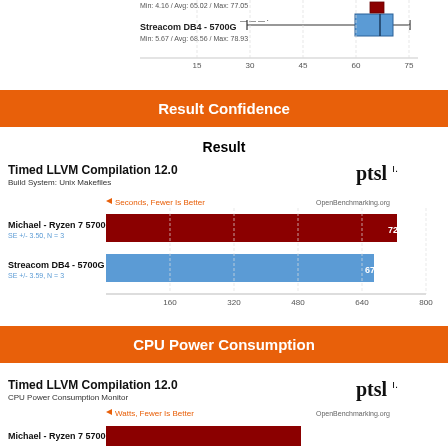[Figure (bar-chart): Partial box-and-whisker plot at top of page showing Streacom DB4 - 5700G with min/avg/max labels]
Result Confidence
Result
[Figure (bar-chart): Timed LLVM Compilation 12.0]
CPU Power Consumption
[Figure (bar-chart): CPU Power Consumption Monitor bar chart, partially visible at bottom]